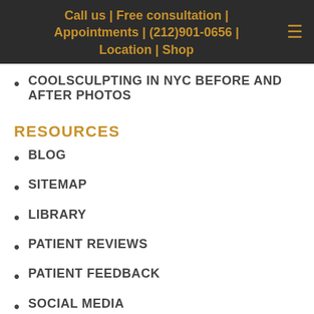Call us | Free consultation | Appointments | (212)901-0656 | Location | Shop
COOLSCULPTING IN NYC BEFORE AND AFTER PHOTOS
RESOURCES
BLOG
SITEMAP
LIBRARY
PATIENT REVIEWS
PATIENT FEEDBACK
SOCIAL MEDIA
DISCLAIMER